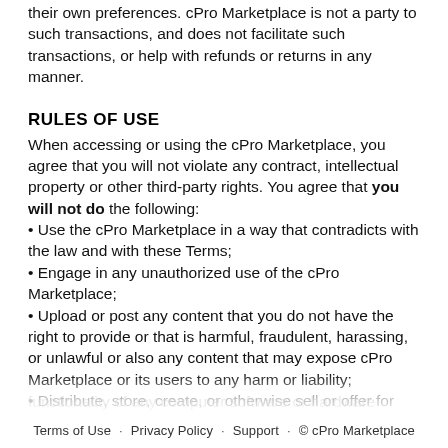their own preferences. cPro Marketplace is not a party to such transactions, and does not facilitate such transactions, or help with refunds or returns in any manner.
RULES OF USE
When accessing or using the cPro Marketplace, you agree that you will not violate any contract, intellectual property or other third-party rights. You agree that you will not do the following:
• Use the cPro Marketplace in a way that contradicts with the law and with these Terms;
• Engage in any unauthorized use of the cPro Marketplace;
• Upload or post any content that you do not have the right to provide or that is harmful, fraudulent, harassing, or unlawful or also any content that may expose cPro Marketplace or its users to any harm or liability;
• Distribute, store, create, or otherwise sell or offer for sale anything that violates our list of PROHIBITED ITEMS;
• Distribute any material that contains software viruses or any other computer code designed to destroy or limit the functionality of any computer software or hardware
Terms of Use · Privacy Policy · Support · © cPro Marketplace